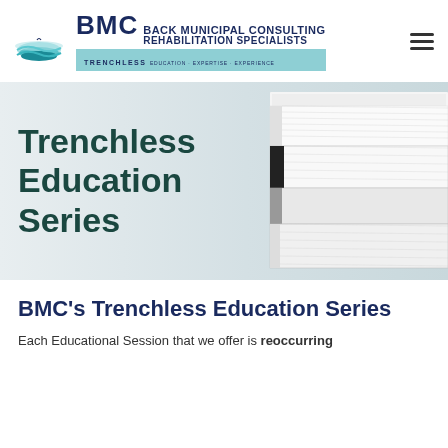[Figure (logo): BMC Back Municipal Consulting Rehabilitation Specialists logo with teal wave circle icon and TRENCHLESS tagline banner]
[Figure (photo): Hero banner with stacked books on right side and large text 'Trenchless Education Series' overlaid on light grey/white background]
BMC's Trenchless Education Series
Each Educational Session that we offer is reoccurring